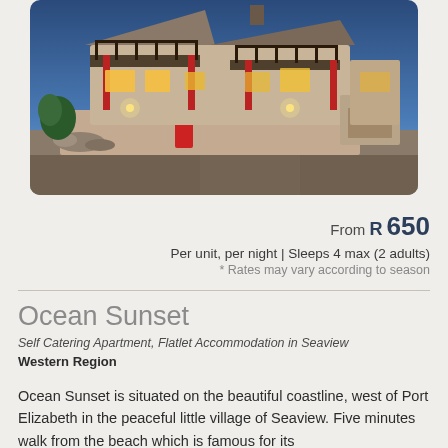[Figure (photo): Exterior photo of Ocean Sunset property at dusk/night, showing a two-storey house with balconies and railings, lit windows, a front wall with a red letterbox, and a paved driveway. Blue evening sky in background.]
From R 650
Per unit, per night | Sleeps 4 max (2 adults)
* Rates may vary according to season
Ocean Sunset
Self Catering Apartment, Flatlet Accommodation in Seaview
Western Region
Ocean Sunset is situated on the beautiful coastline, west of Port Elizabeth in the peaceful little village of Seaview. Five minutes walk from the beach which is famous for its